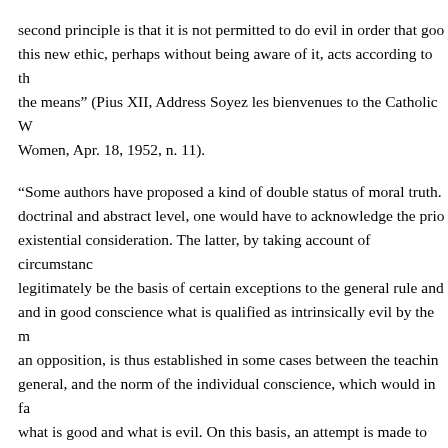second principle is that it is not permitted to do evil in order that good this new ethic, perhaps without being aware of it, acts according to th the means" (Pius XII, Address Soyez les bienvenues to the Catholic W Women, Apr. 18, 1952, n. 11).
“Some authors have proposed a kind of double status of moral truth. doctrinal and abstract level, one would have to acknowledge the prior existential consideration. The latter, by taking account of circumstanc legitimately be the basis of certain exceptions to the general rule and and in good conscience what is qualified as intrinsically evil by the m an opposition, is thus established in some cases between the teaching general, and the norm of the individual conscience, which would in fa what is good and what is evil. On this basis, an attempt is made to leg solutions contrary to the teaching of the Magisterium, and to justify a according to which the moral conscience is in no way obliged, in ever precept” (John Paul II, Enc. Veritatis splendor, Aug. 6, 1993, n. 56).
13.   We firmly reiterate the truth that divorcees who have attempted a